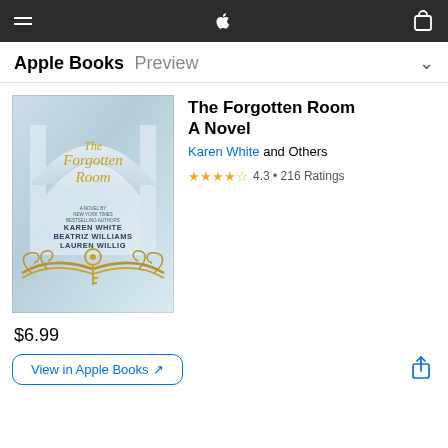Apple Books Preview
[Figure (illustration): Book cover for 'The Forgotten Room' by Karen White, Beatriz Williams, Lauren Willig. Shows a blue/grey architectural arch background with gold/yellow decorative ironwork and a key at the bottom. Title in gold italic script, authors in dark blue caps.]
The Forgotten Room
A Novel
Karen White and Others
4.3 • 216 Ratings
$6.99
View in Apple Books ↗